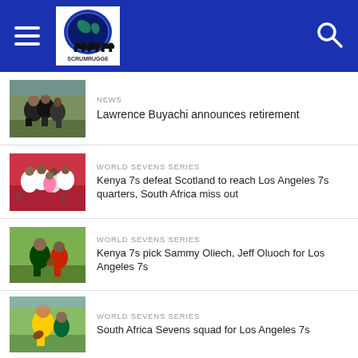Scrumrugge [logo] [hamburger menu] [search icon]
NEWS
Lawrence Buyachi announces retirement
[Figure (photo): Rugby players competing in a match on a green field]
WORLD SEVENS SERIES
Kenya 7s defeat Scotland to reach Los Angeles 7s quarters, South Africa miss out
[Figure (photo): Rugby players celebrating in white jerseys]
WORLD SEVENS SERIES
Kenya 7s pick Sammy Oliech, Jeff Oluoch for Los Angeles 7s
[Figure (photo): Kenya rugby sevens player running with ball in green kit]
WORLD SEVENS SERIES
South Africa Sevens squad for Los Angeles 7s
[Figure (photo): South Africa rugby sevens player handling ball in yellow kit]